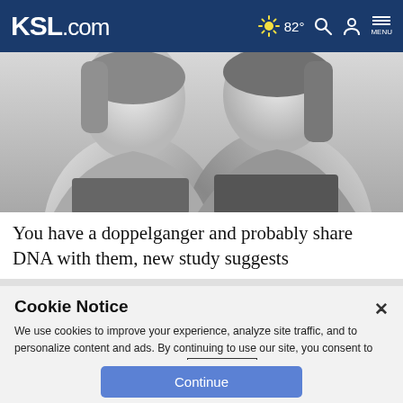KSL.com  82°  MENU
[Figure (photo): Black and white photo of two women (doppelgangers) facing the camera, cropped at the shoulders]
You have a doppelganger and probably share DNA with them, new study suggests
Cookie Notice
We use cookies to improve your experience, analyze site traffic, and to personalize content and ads. By continuing to use our site, you consent to our use of cookies. Please visit our Terms of Use and Privacy Policy for more information.
Continue